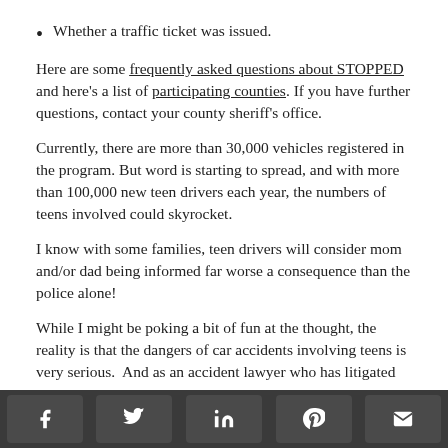Whether a traffic ticket was issued.
Here are some frequently asked questions about STOPPED and here's a list of participating counties. If you have further questions, contact your county sheriff's office.
Currently, there are more than 30,000 vehicles registered in the program. But word is starting to spread, and with more than 100,000 new teen drivers each year, the numbers of teens involved could skyrocket.
I know with some families, teen drivers will consider mom and/or dad being informed far worse a consequence than the police alone!
While I might be poking a bit of fun at the thought, the reality is that the dangers of car accidents involving teens is very serious.  And as an accident lawyer who has litigated
Social share buttons: Facebook, Twitter, LinkedIn, Pinterest, Email